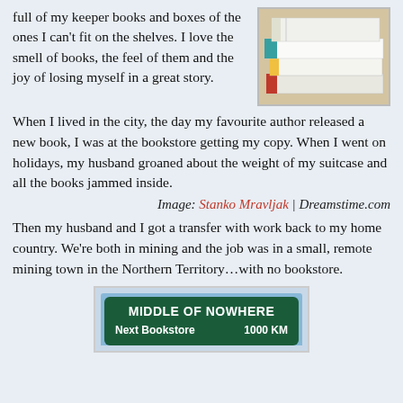full of my keeper books and boxes of the ones I can't fit on the shelves. I love the smell of books, the feel of them and the joy of losing myself in a great story.
[Figure (photo): A stack of books with colorful spines on a wooden surface]
When I lived in the city, the day my favourite author released a new book, I was at the bookstore getting my copy. When I went on holidays, my husband groaned about the weight of my suitcase and all the books jammed inside.
Image: Stanko Mravljak | Dreamstime.com
Then my husband and I got a transfer with work back to my home country. We're both in mining and the job was in a small, remote mining town in the Northern Territory…with no bookstore.
[Figure (photo): A road sign reading MIDDLE OF NOWHERE with Next Bookstore 1000 KM below]